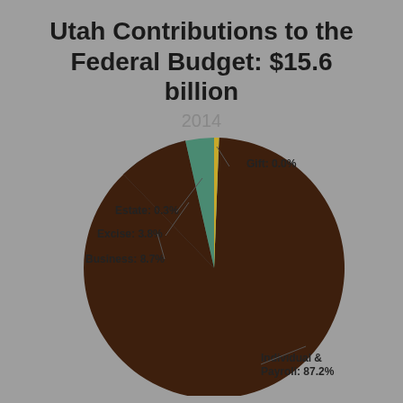Utah Contributions to the Federal Budget: $15.6 billion
2014
[Figure (pie-chart): Utah Contributions to the Federal Budget: $15.6 billion]